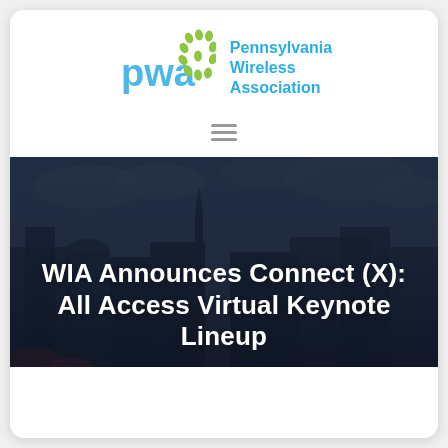[Figure (logo): Pennsylvania Wireless Association logo with green dot pattern and PWA text in blue, alongside organization name in blue text]
[Figure (other): Hamburger menu icon (three horizontal lines)]
[Figure (photo): Hero banner image showing a dark, moody cityscape with historic buildings and cloudy sky, overlaid with large white text reading 'WIA Announces Connect (X): All Access Virtual Keynote Lineup']
WIA Announces Connect (X): All Access Virtual Keynote Lineup